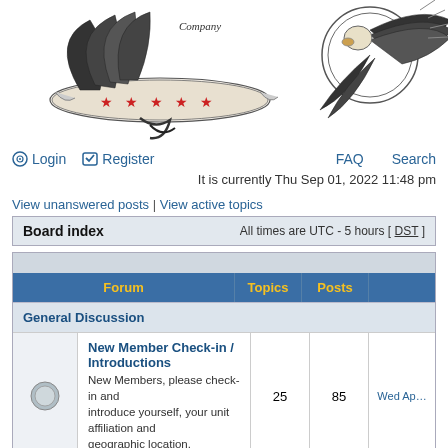[Figure (illustration): Website header with an eagle/wings banner illustration in black and white with red stars on a scroll, partially cropped at right edge]
Login  Register  FAQ  Search
It is currently Thu Sep 01, 2022 11:48 pm
View unanswered posts | View active topics
| Board index | All times are UTC - 5 hours [DST] |
| --- | --- |
| Forum | Topics | Posts |  |
| --- | --- | --- | --- |
| General Discussion |  |  |  |
| New Member Check-in / Introductions
New Members, please check-in and introduce yourself, your unit affiliation and geographic location. | 25 | 85 | Wed Ap… |
| For Sale / Wanted
Post For Sale / Wanted items here... |  |  |  |